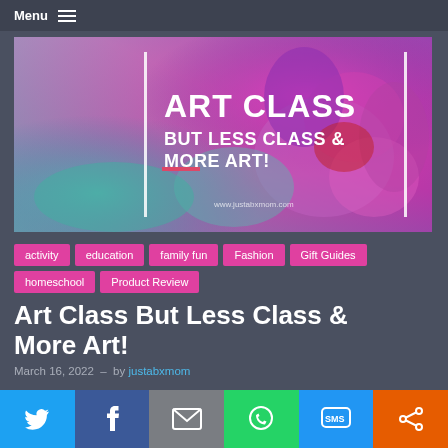Menu
[Figure (illustration): Blog header image with floral watercolor background in purple, pink, teal. White text overlay reads: ART CLASS / BUT LESS CLASS & MORE ART! / www.justabxmom.com]
activity
education
family fun
Fashion
Gift Guides
homeschool
Product Review
Art Class But Less Class & More Art!
March 16, 2022  –  by justabxmom